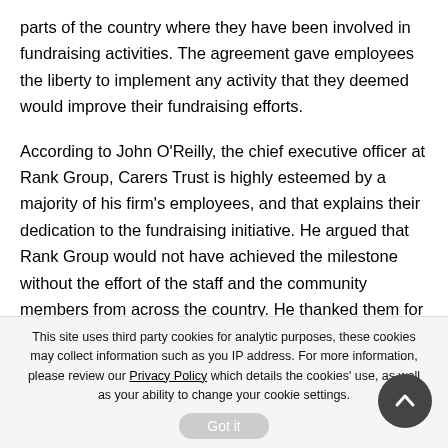parts of the country where they have been involved in fundraising activities. The agreement gave employees the liberty to implement any activity that they deemed would improve their fundraising efforts.
According to John O'Reilly, the chief executive officer at Rank Group, Carers Trust is highly esteemed by a majority of his firm's employees, and that explains their dedication to the fundraising initiative. He argued that Rank Group would not have achieved the milestone without the effort of the staff and the community members from across the country. He thanked them for the effort they had made and expressed satisfaction with the charity initiative.
This site uses third party cookies for analytic purposes, these cookies may collect information such as you IP address. For more information, please review our Privacy Policy which details the cookies' use, as well as your ability to change your cookie settings.